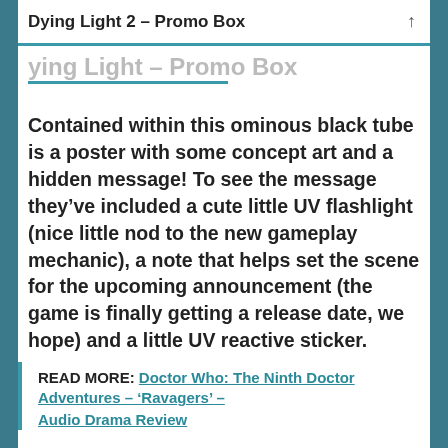Dying Light 2 – Promo Box ↑
Dying Light – Promo Box
Contained within this ominous black tube is a poster with some concept art and a hidden message! To see the message they've included a cute little UV flashlight (nice little nod to the new gameplay mechanic), a note that helps set the scene for the upcoming announcement (the game is finally getting a release date, we hope) and a little UV reactive sticker.
READ MORE: Doctor Who: The Ninth Doctor Adventures – 'Ravagers' – Audio Drama Review